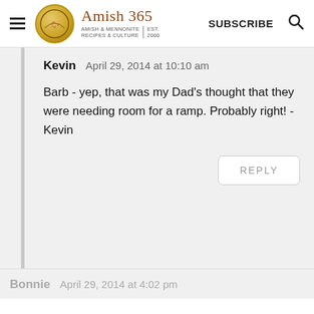Amish 365 — AMISH & MENNONITE RECIPES & CULTURE | EST. 2000 | SUBSCRIBE
Kevin   April 29, 2014 at 10:10 am

Barb - yep, that was my Dad's thought that they were needing room for a ramp. Probably right! - Kevin
REPLY
Bonnie   April 29, 2014 at 4:02 pm